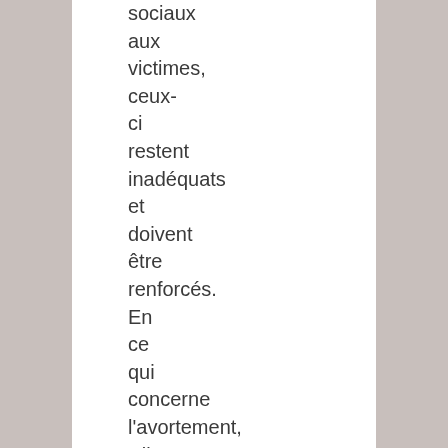sociaux aux victimes, ceux-ci restent inadéquats et doivent être renforcés. En ce qui concerne l'avortement, s'il est vrai que le gouvernement a décrété,